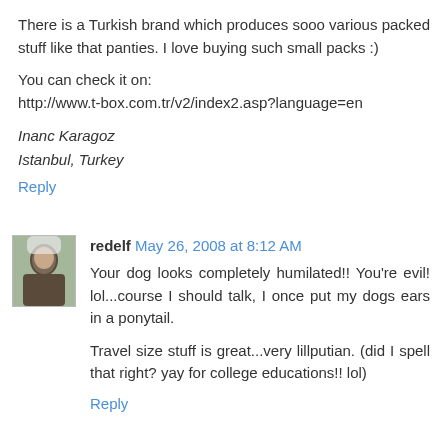There is a Turkish brand which produces sooo various packed stuff like that panties. I love buying such small packs :)
You can check it on:
http://www.t-box.com.tr/v2/index2.asp?language=en
Inanc Karagoz
Istanbul, Turkey
Reply
[Figure (photo): Avatar photo of user redelf - person outdoors]
redelf May 26, 2008 at 8:12 AM
Your dog looks completely humilated!! You're evil! lol...course I should talk, I once put my dogs ears in a ponytail.
Travel size stuff is great...very lillputian. (did I spell that right? yay for college educations!! lol)
Reply